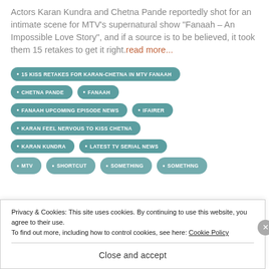Actors Karan Kundra and Chetna Pande reportedly shot for an intimate scene for MTV's supernatural show "Fanaah – An Impossible Love Story", and if a source is to be believed, it took them 15 retakes to get it right. read more...
15 KISS RETAKES FOR KARAN-CHETNA IN MTV FANAAH
CHETNA PANDE
FANAAH
FANAAH UPCOMING EPISODE NEWS
IFAIRER
KARAN FEEL NERVOUS TO KISS CHETNA
KARAN KUNDRA
LATEST TV SERIAL NEWS
Privacy & Cookies: This site uses cookies. By continuing to use this website, you agree to their use. To find out more, including how to control cookies, see here: Cookie Policy
Close and accept